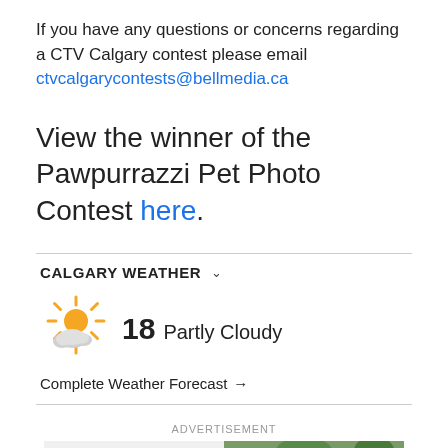If you have any questions or concerns regarding a CTV Calgary contest please email ctvcalgarycontests@bellmedia.ca
View the winner of the Pawpurrazzi Pet Photo Contest here.
CALGARY WEATHER
[Figure (illustration): Partly cloudy weather icon: sun with cloud overlay]
18 Partly Cloudy
Complete Weather Forecast →
ADVERTISEMENT
[Figure (photo): Advertisement image partially visible at bottom of page]